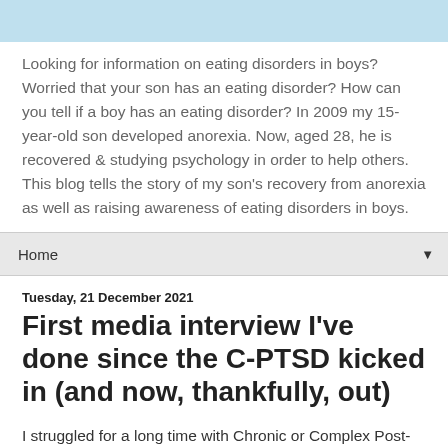Looking for information on eating disorders in boys? Worried that your son has an eating disorder? How can you tell if a boy has an eating disorder? In 2009 my 15-year-old son developed anorexia. Now, aged 28, he is recovered & studying psychology in order to help others. This blog tells the story of my son's recovery from anorexia as well as raising awareness of eating disorders in boys.
Home
Tuesday, 21 December 2021
First media interview I've done since the C-PTSD kicked in (and now, thankfully, out)
I struggled for a long time with Chronic or Complex Post-Traumatic Stress Disorder (C-PTSD) as a result of the horror, trauma and stress of battling to get my son through